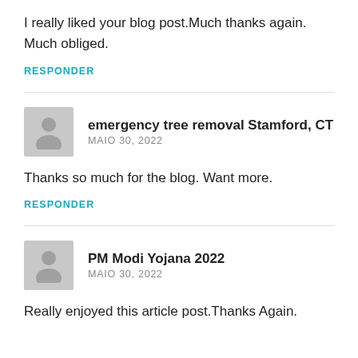I really liked your blog post.Much thanks again. Much obliged.
RESPONDER
emergency tree removal Stamford, CT
MAIO 30, 2022
Thanks so much for the blog. Want more.
RESPONDER
PM Modi Yojana 2022
MAIO 30, 2022
Really enjoyed this article post.Thanks Again.